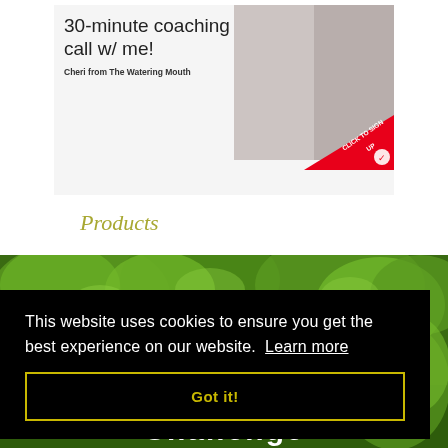[Figure (photo): Advertisement banner for a 30-minute coaching call with before/after weight loss photos. Text reads '30-minute coaching call w/ me! Cheri from The Watering Mouth' with a red corner banner saying 'CLICK TO SIGN UP']
Products
[Figure (photo): Green lettuce/salad vegetables photo background with the word 'Challenge' partially visible at the bottom]
This website uses cookies to ensure you get the best experience on our website.  Learn more
Got it!